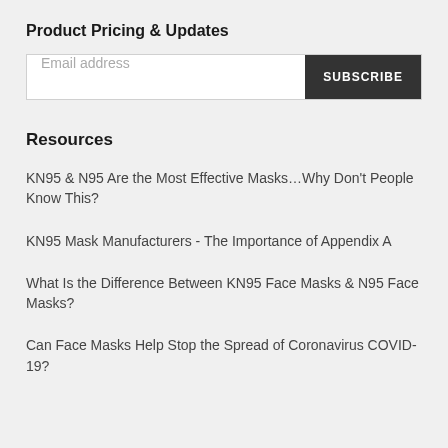Product Pricing & Updates
[Figure (other): Email subscription form with email address input field and SUBSCRIBE button]
Resources
KN95 & N95 Are the Most Effective Masks…Why Don't People Know This?
KN95 Mask Manufacturers - The Importance of Appendix A
What Is the Difference Between KN95 Face Masks & N95 Face Masks?
Can Face Masks Help Stop the Spread of Coronavirus COVID-19?